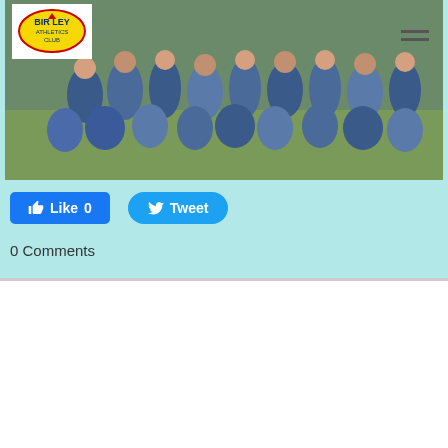[Figure (photo): Group photo of runners in blue athletic wear posed on grass, Birtley Athletics Club logo visible in top-left corner]
Like 0
Tweet
0 Comments
Gosforth Summer Relays - report by PJB
8/8/2021
0 Comments
Well done to everyone who ran this morning for our club at Gosforth Summer Relays. Some amazing performances across the board especially our Birtley Ladies who were superb winners.